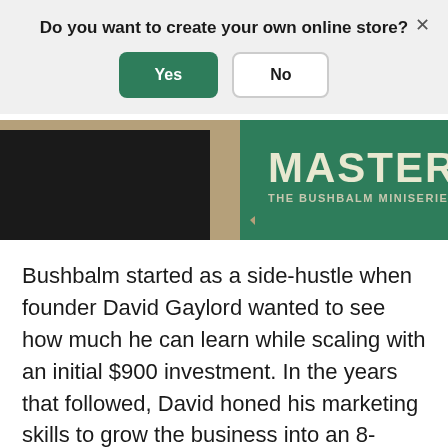Do you want to create your own online store?
Yes
No
[Figure (illustration): Banner image showing a person in a black t-shirt on the left with a tan/gold background, and a green panel on the right with large white bold text 'MASTERS' and subtitle 'THE BUSHBALM MINISERIES']
Bushbalm started as a side-hustle when founder David Gaylord wanted to see how much he can learn while scaling with an initial $900 investment. In the years that followed, David honed his marketing skills to grow the business into an 8-figure skincare brand. In this episode of the Bushbalm Miniseries, David shares his